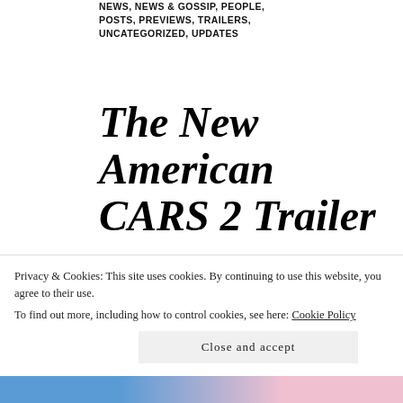NEWS, NEWS & GOSSIP, PEOPLE, POSTS, PREVIEWS, TRAILERS, UNCATEGORIZED, UPDATES
The New American CARS 2 Trailer
MARCH 8, 2011 | THEPEOPLESMOVIES | ANIMATION, BONNIE HUNT, CARS, CARS 2, CHEECH MARIN, DISNEY MOVIES, JOHN RATZENBERGER, LARRY THE CABLE GUY, LIGHTNING MCQUEEN, MATER, MICHAEL CAINE, MICHAEL KEATON, MICHEL MICHELIS, NEWS
Privacy & Cookies: This site uses cookies. By continuing to use this website, you agree to their use. To find out more, including how to control cookies, see here: Cookie Policy
Close and accept